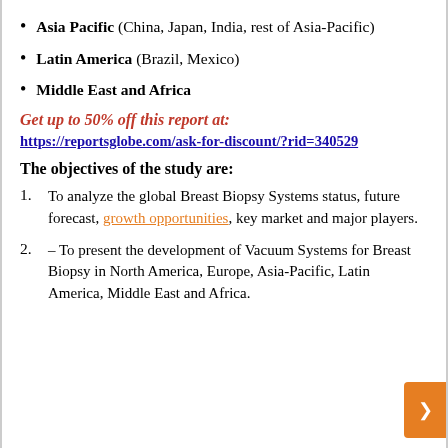Asia Pacific (China, Japan, India, rest of Asia-Pacific)
Latin America (Brazil, Mexico)
Middle East and Africa
Get up to 50% off this report at:
https://reportsglobe.com/ask-for-discount/?rid=340529
The objectives of the study are:
To analyze the global Breast Biopsy Systems status, future forecast, growth opportunities, key market and major players.
– To present the development of Vacuum Systems for Breast Biopsy in North America, Europe, Asia-Pacific, Latin America, Middle East and Africa.